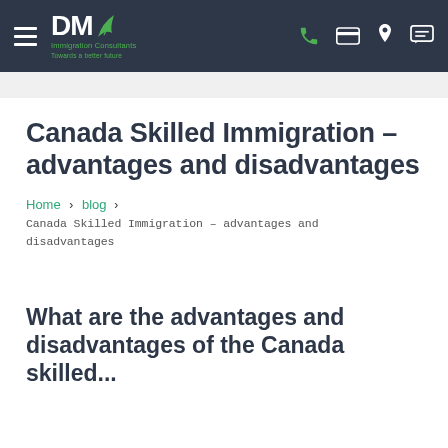DM Immigration Consultants — navigation header with hamburger menu, logo, phone, card, location, and chat icons
Canada Skilled Immigration – advantages and disadvantages
Home › blog › Canada Skilled Immigration – advantages and disadvantages
What are the advantages and disadvantages of the Canada skilled...